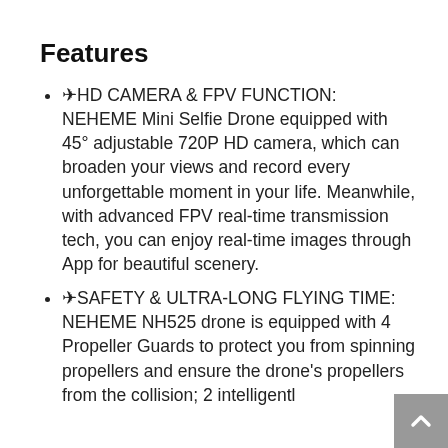Features
✈HD CAMERA & FPV FUNCTION: NEHEME Mini Selfie Drone equipped with 45° adjustable 720P HD camera, which can broaden your views and record every unforgettable moment in your life. Meanwhile, with advanced FPV real-time transmission tech, you can enjoy real-time images through App for beautiful scenery.
✈SAFETY & ULTRA-LONG FLYING TIME: NEHEME NH525 drone is equipped with 4 Propeller Guards to protect you from spinning propellers and ensure the drone's propellers from the collision; 2 intelligently...